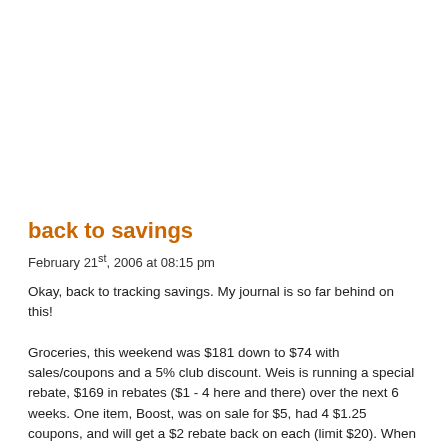back to savings
February 21st, 2006 at 08:15 pm
Okay, back to tracking savings. My journal is so far behind on this!
Groceries, this weekend was $181 down to $74 with sales/coupons and a 5% club discount. Weis is running a special rebate, $169 in rebates ($1 - 4 here and there) over the next 6 weeks. One item, Boost, was on sale for $5, had 4 $1.25 coupons, and will get a $2 rebate back on each (limit $20). When I receive the coupons from Boost in the mail, I will finish up on that. DH doesn't like it as much as the Ensure, but he appreciates the savings. Seriously overstocked on TP, tissue, paper towels, etc., between the KC rebate and the sales/coupons, and more Weis rebates. So those will wait towards the end of the rebate period, when we've downsized a bit, and hopefully they've gone on sale and we have coupons 🙂